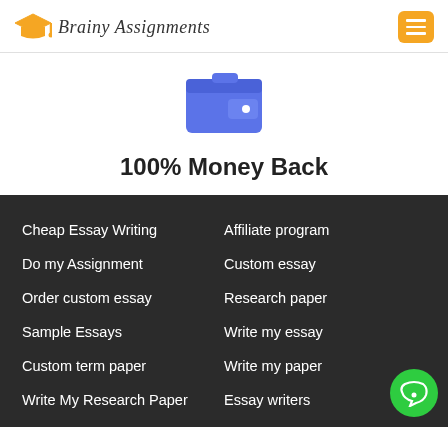[Figure (logo): Brainy Assignments logo with graduation cap icon in orange and script text, plus orange hamburger menu button]
[Figure (illustration): Blue wallet icon with a white dot]
100% Money Back
Cheap Essay Writing
Affiliate program
Do my Assignment
Custom essay
Order custom essay
Research paper
Sample Essays
Write my essay
Custom term paper
Write my paper
Write My Research Paper
Essay writers